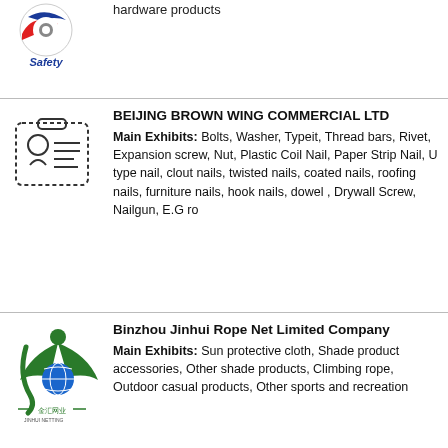[Figure (logo): BorDor Safety logo with circular red/blue emblem and text 'Safety' below]
hardware products
[Figure (illustration): ID badge / person icon with dashed border]
BEIJING BROWN WING COMMERCIAL LTD
Main Exhibits: Bolts, Washer, Typeit, Thread bars, Rivet, Expansion screw, Nut, Plastic Coil Nail, Paper Strip Nail, U type nail, clout nails, twisted nails, coated nails, roofing nails, furniture nails, hook nails, dowel , Drywall Screw, Nailgun, E.G ro
[Figure (logo): Binzhou Jinhui Rope Net company logo - green figure with globe, Chinese text '金汇网业']
Binzhou Jinhui Rope Net Limited Company
Main Exhibits: Sun protective cloth, Shade product accessories, Other shade products, Climbing rope, Outdoor casual products, Other sports and recreation